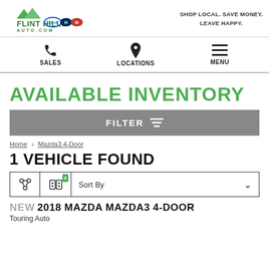Flint Hills Auto.com — SHOP LOCAL. SAVE MONEY. LEAVE HAPPY.
SALES | LOCATIONS | MENU
AVAILABLE INVENTORY
FILTER
Home > Mazda3 4-Door
1 VEHICLE FOUND
Sort By
NEW 2018 MAZDA MAZDA3 4-DOOR
Touring Auto